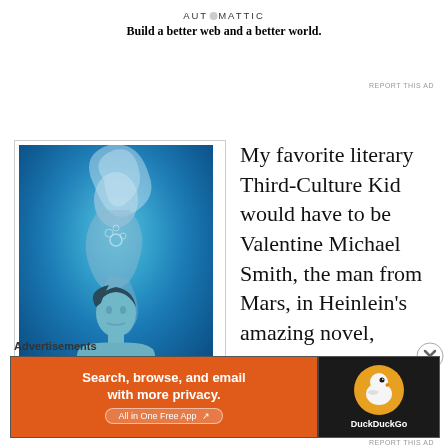AUTOMATTIC
Build a better web and a better world.
REPORT THIS AD
[Figure (illustration): Fantasy underwater illustration showing a man with crossed arms looking upward, with a mermaid figure above him, all rendered in blue tones]
My favorite literary Third-Culture Kid would have to be Valentine Michael Smith, the man from Mars, in Heinlein’s amazing novel, Stranger In A Strange Land.  Mike to his
Advertisements
[Figure (other): DuckDuckGo advertisement: Search, browse, and email with more privacy. All in One Free App. DuckDuckGo logo on dark background.]